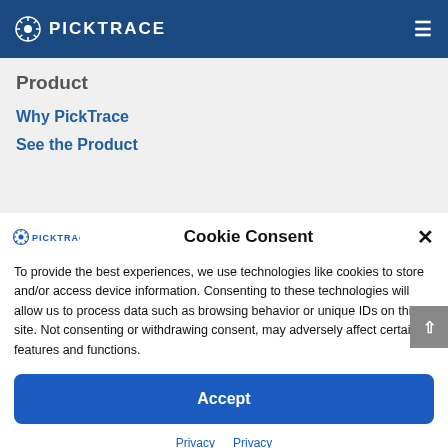PICKTRACE
Product
Why PickTrace
See the Product
Cookie Consent
To provide the best experiences, we use technologies like cookies to store and/or access device information. Consenting to these technologies will allow us to process data such as browsing behavior or unique IDs on this site. Not consenting or withdrawing consent, may adversely affect certain features and functions.
Accept
Privacy  Privacy